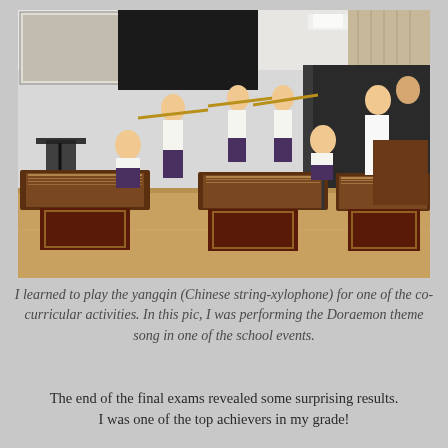[Figure (photo): A group of school children performing on traditional Chinese instruments (yangqin) and flutes on a gymnasium stage. Several girls play wind instruments while others sit at ornate wooden yangqin (Chinese string-xylophone) tables. A woman and a man in a suit stand in the background near a podium. A projection screen is visible in the background.]
I learned to play the yangqin (Chinese string-xylophone) for one of the co-curricular activities. In this pic, I was performing the Doraemon theme song in one of the school events.
The end of the final exams revealed some surprising results. I was one of the top achievers in my grade!